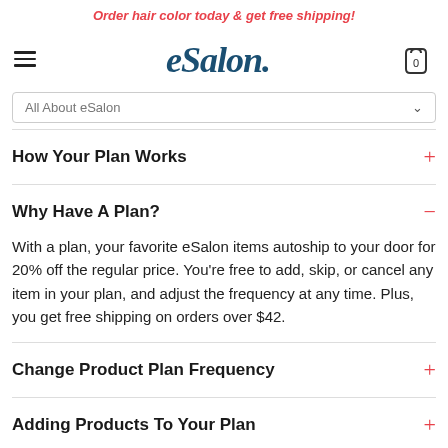Order hair color today & get free shipping!
[Figure (logo): eSalon logo with hamburger menu and cart icon showing 0 items]
All About eSalon
How Your Plan Works
Why Have A Plan?
With a plan, your favorite eSalon items autoship to your door for 20% off the regular price. You're free to add, skip, or cancel any item in your plan, and adjust the frequency at any time. Plus, you get free shipping on orders over $42.
Change Product Plan Frequency
Adding Products To Your Plan